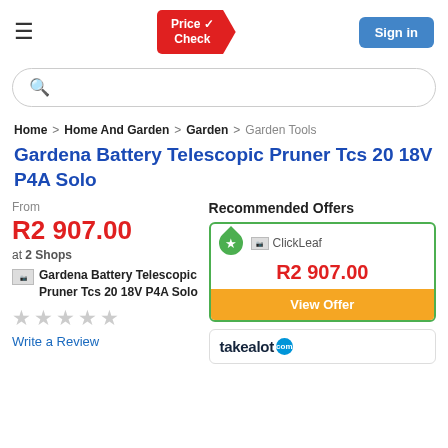[Figure (logo): Price Check logo in red with checkmark]
Sign in
Search bar
Home > Home And Garden > Garden > Garden Tools
Gardena Battery Telescopic Pruner Tcs 20 18V P4A Solo
From
R2 907.00
at 2 Shops
[Figure (photo): Gardena Battery Telescopic Pruner Tcs 20 18V P4A Solo product image placeholder]
Write a Review
Recommended Offers
ClickLeaf
R2 907.00
View Offer
[Figure (logo): Takealot logo]